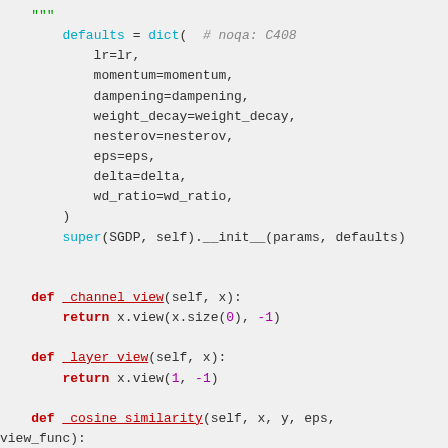Python source code snippet showing defaults dict and class method definitions for _channel_view, _layer_view, and _cosine_similarity